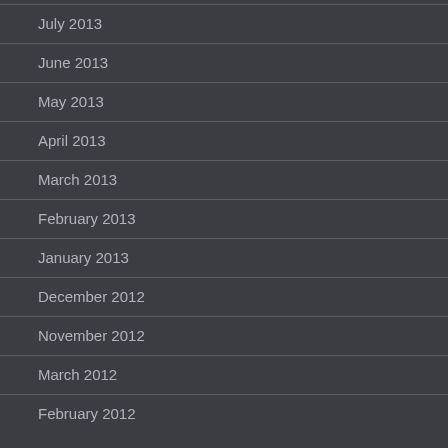July 2013
June 2013
May 2013
April 2013
March 2013
February 2013
January 2013
December 2012
November 2012
March 2012
February 2012